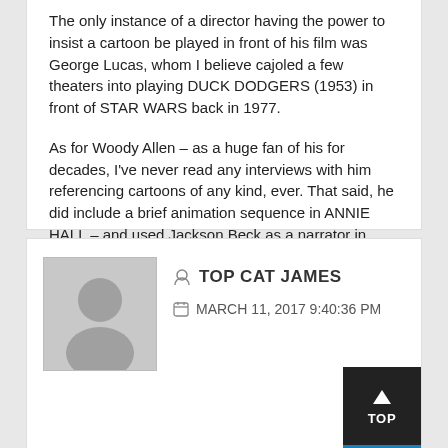The only instance of a director having the power to insist a cartoon be played in front of his film was George Lucas, whom I believe cajoled a few theaters into playing DUCK DODGERS (1953) in front of STAR WARS back in 1977.
As for Woody Allen – as a huge fan of his for decades, I've never read any interviews with him referencing cartoons of any kind, ever. That said, he did include a brief animation sequence in ANNIE HALL – and used Jackson Beck as a narrator in both TAKE THE MONEY AND RUN and RADIO DAYS. Mae Questel, of course, appears on camera as Woody's mother in NEW YORK STORIES.
TOP CAT JAMES
MARCH 11, 2017 9:40:36 PM